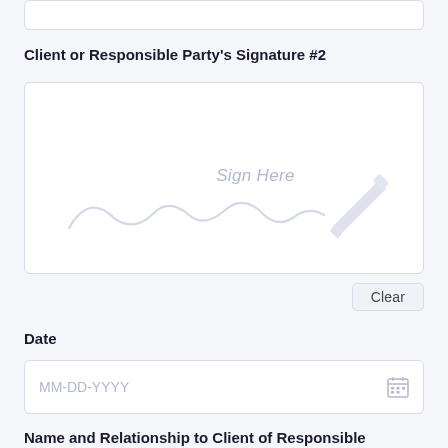Client or Responsible Party's Signature #2
[Figure (other): Signature input box with 'Sign Here' placeholder text and a decorative pen icon with a faint cursive signature watermark, and a Clear button below]
Date
MM-DD-YYYY
Name and Relationship to Client of Responsible Party #2